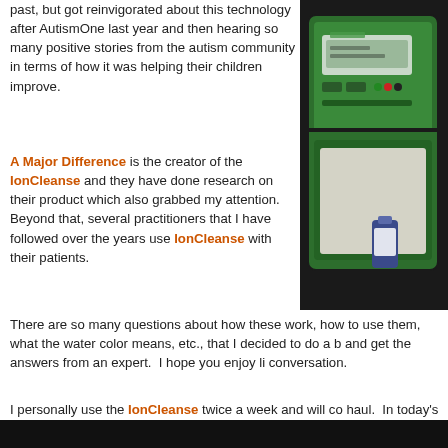past, but got reinvigorated about this technology after AutismOne last year and then hearing so many positive stories from the autism community in terms of how it was helping their children improve.
[Figure (photo): Green IonCleanse device in an open carrying case with a small blue bottle beside it, photographed against a dark background.]
A Major Difference is the creator of the IonCleanse and they have done research on their product which also grabbed my attention. Beyond that, several practitioners that I have followed over the years use IonCleanse with their patients.
There are so many questions about how these work, how to use them, what the water color means, etc., that I decided to do a b and get the answers from an expert. I hope you enjoy li conversation.
I personally use the IonCleanse twice a week and will co haul. In today's world, anything I can do that supports de something that grabs my attention.